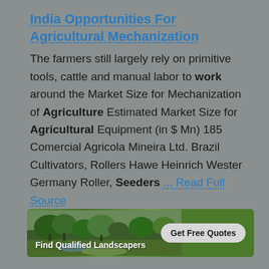India Opportunities For Agricultural Mechanization
The farmers still largely rely on primitive tools, cattle and manual labor to work around the Market Size for Mechanization of Agriculture Estimated Market Size for Agricultural Equipment (in $ Mn) 185 Comercial Agricola Mineira Ltd. Brazil Cultivators, Rollers Hawe Heinrich Wester Germany Roller, Seeders ... Read Full Source
[Figure (infographic): Advertisement banner for landscaping services with green garden background, text 'Find Qualified Landscapers' and a button 'Get Free Quotes']